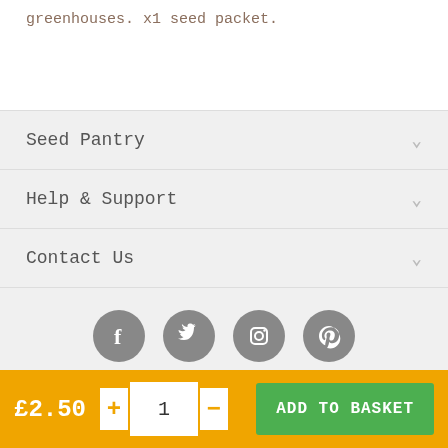greenhouses. x1 seed packet.
Seed Pantry
Help & Support
Contact Us
[Figure (other): Social media icons: Facebook, Twitter, Instagram, Pinterest — grey circles with white icons]
© 2010-2022 Seed Pantry - Company Registration No: 6832959 | VAT
£2.50  +  1  -  ADD TO BASKET